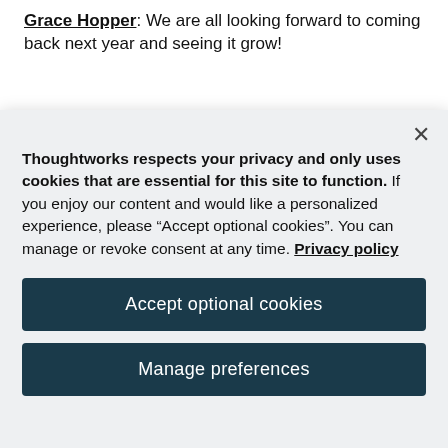Grace Hopper: We are all looking forward to coming back next year and seeing it grow!
Disclaimer: The statements and opinions expressed
Thoughtworks respects your privacy and only uses cookies that are essential for this site to function. If you enjoy our content and would like a personalized experience, please “Accept optional cookies”. You can manage or revoke consent at any time. Privacy policy
Accept optional cookies
Manage preferences